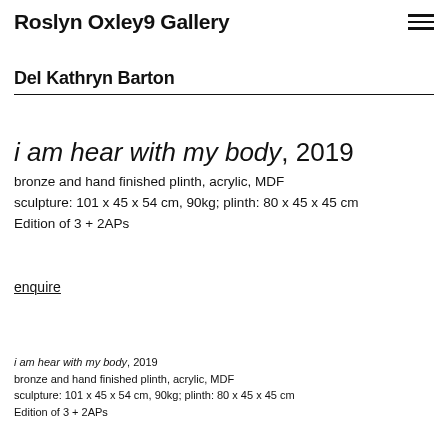Roslyn Oxley9 Gallery
Del Kathryn Barton
i am hear with my body, 2019
bronze and hand finished plinth, acrylic, MDF
sculpture: 101 x 45 x 54 cm, 90kg; plinth: 80 x 45 x 45 cm
Edition of 3 + 2APs
enquire
i am hear with my body, 2019
bronze and hand finished plinth, acrylic, MDF
sculpture: 101 x 45 x 54 cm, 90kg; plinth: 80 x 45 x 45 cm
Edition of 3 + 2APs